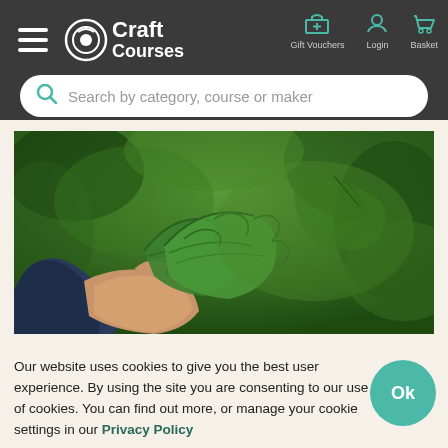Craft Courses — Gift Vouchers, Login, Basket
Search by category, course or maker
[Figure (photo): Close-up of a hand holding green leaves outdoors, with lush green foliage in the background]
Our website uses cookies to give you the best user experience. By using the site you are consenting to our use of cookies. You can find out more, or manage your cookie settings in our Privacy Policy